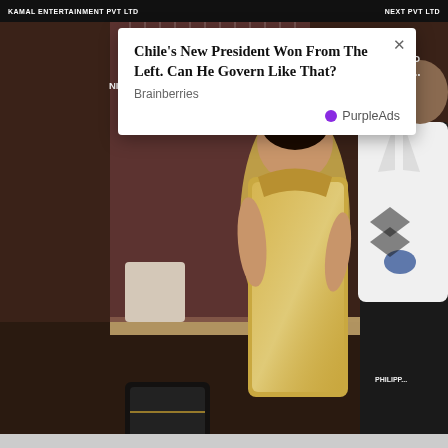KAMAL ENTERTAINMENT PVT LTD | NEXT PVT LTD
[Figure (photo): Screenshot of a webpage showing a photo of two people at a film event — a woman in a gold sequined gown and a man in a white jacket — with a film poster backdrop reading 'Written & Directed by Nitin Kumar Gupta, in association with Vishal Om Prakash'. A popup ad overlay is visible.]
Chile's New President Won From The Left. Can He Govern Like That?
Brainberries
PurpleAds